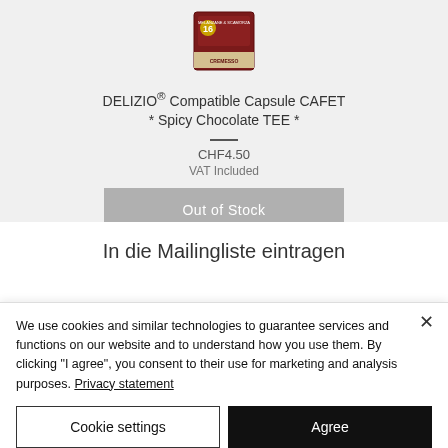[Figure (photo): Product image of DELIZIO compatible capsule box, dark red packaging with '16' on it, labeled CREMESSO]
DELIZIO® Compatible Capsule CAFET * Spicy Chocolate TEE *
CHF4.50
VAT Included
Out of Stock
In die Mailingliste eintragen
We use cookies and similar technologies to guarantee services and functions on our website and to understand how you use them. By clicking "I agree", you consent to their use for marketing and analysis purposes. Privacy statement
Cookie settings
Agree